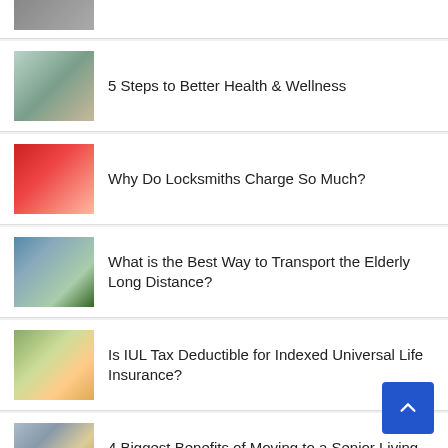[Figure (photo): Partial image of a person at a desk, cropped at top]
5 Steps to Better Health & Wellness
Why Do Locksmiths Charge So Much?
What is the Best Way to Transport the Elderly Long Distance?
Is IUL Tax Deductible for Indexed Universal Life Insurance?
4 Biggest Benefits of Moving to a Senior Living Facility